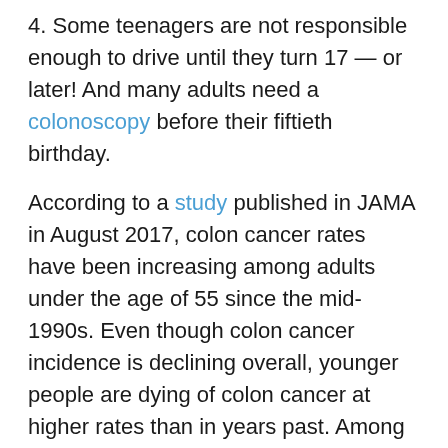4. Some teenagers are not responsible enough to drive until they turn 17 — or later! And many adults need a colonoscopy before their fiftieth birthday.
According to a study published in JAMA in August 2017, colon cancer rates have been increasing among adults under the age of 55 since the mid-1990s. Even though colon cancer incidence is declining overall, younger people are dying of colon cancer at higher rates than in years past. Among 20 to 54-year-olds, the death rate has risen to 4.3 per 100,000 in 2014 compared to 3.9 per 100,000 in 2004.
Even so, the U.S. Preventative Services Task Force has not altered the recommended age for baseline colonoscopies for men and